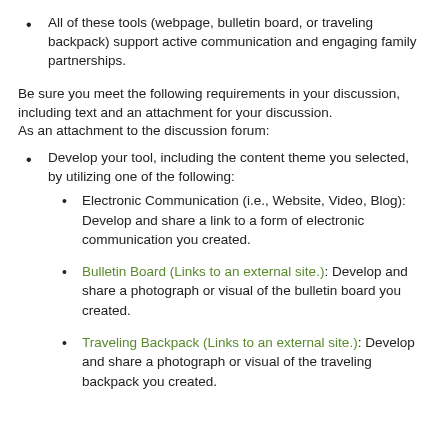All of these tools (webpage, bulletin board, or traveling backpack) support active communication and engaging family partnerships.
Be sure you meet the following requirements in your discussion, including text and an attachment for your discussion.
As an attachment to the discussion forum:
Develop your tool, including the content theme you selected, by utilizing one of the following:
Electronic Communication (i.e., Website, Video, Blog): Develop and share a link to a form of electronic communication you created.
Bulletin Board (Links to an external site.): Develop and share a photograph or visual of the bulletin board you created.
Traveling Backpack (Links to an external site.): Develop and share a photograph or visual of the traveling backpack you created.